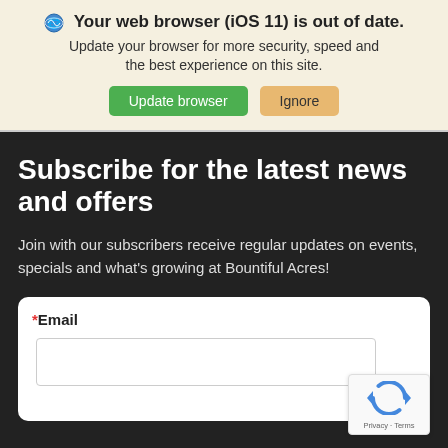Your web browser (iOS 11) is out of date. Update your browser for more security, speed and the best experience on this site.
Subscribe for the latest news and offers
Join with our subscribers receive regular updates on events, specials and what's growing at Bountiful Acres!
*Email